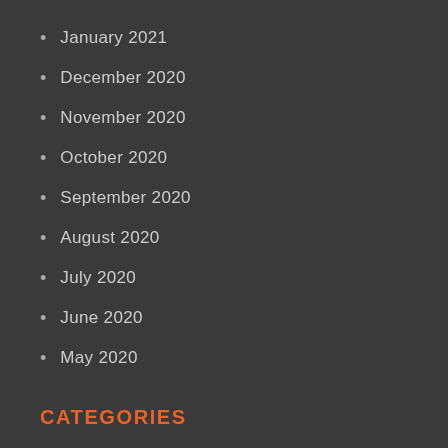January 2021
December 2020
November 2020
October 2020
September 2020
August 2020
July 2020
June 2020
May 2020
CATEGORIES
Auto
Business